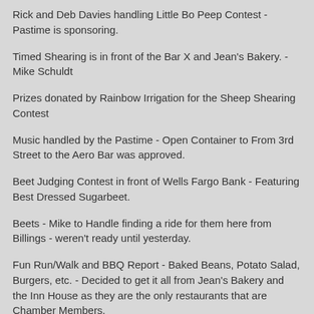Rick and Deb Davies handling Little Bo Peep Contest - Pastime is sponsoring.
Timed Shearing is in front of the Bar X and Jean's Bakery. - Mike Schuldt
Prizes donated by Rainbow Irrigation for the Sheep Shearing Contest
Music handled by the Pastime - Open Container to From 3rd Street to the Aero Bar was approved.
Beet Judging Contest in front of Wells Fargo Bank - Featuring Best Dressed Sugarbeet.
Beets - Mike to Handle finding a ride for them here from Billings - weren't ready until yesterday.
Fun Run/Walk and BBQ Report - Baked Beans, Potato Salad, Burgers, etc. - Decided to get it all from Jean's Bakery and the Inn House as they are the only restaurants that are Chamber Members.
Games - Heather DePriest
Needs Potato Sacks - Perry Miller may have some from the 4th of July